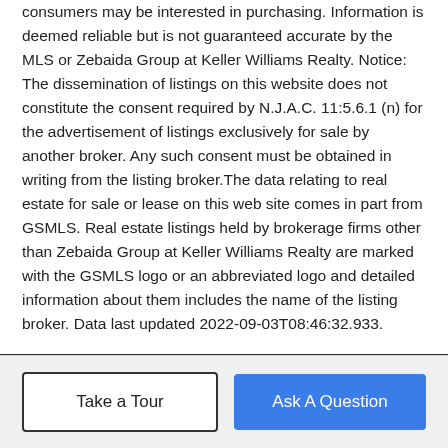consumers may be interested in purchasing. Information is deemed reliable but is not guaranteed accurate by the MLS or Zebaida Group at Keller Williams Realty. Notice: The dissemination of listings on this website does not constitute the consent required by N.J.A.C. 11:5.6.1 (n) for the advertisement of listings exclusively for sale by another broker. Any such consent must be obtained in writing from the listing broker.The data relating to real estate for sale or lease on this web site comes in part from GSMLS. Real estate listings held by brokerage firms other than Zebaida Group at Keller Williams Realty are marked with the GSMLS logo or an abbreviated logo and detailed information about them includes the name of the listing broker. Data last updated 2022-09-03T08:46:32.933.
BoomTown! © 2022
Terms of Use | Privacy Policy | Accessibility | DMCA | Listings Sitemap
Take a Tour
Ask A Question